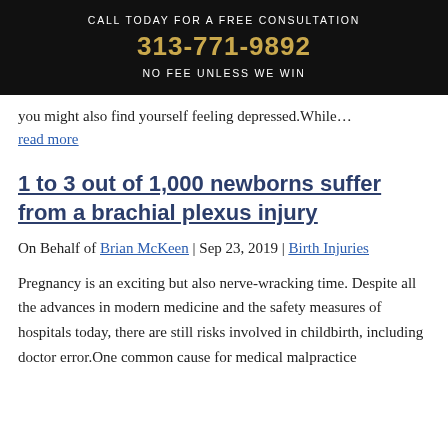CALL TODAY FOR A FREE CONSULTATION
313-771-9892
NO FEE UNLESS WE WIN
you might also find yourself feeling depressed.While…
read more
1 to 3 out of 1,000 newborns suffer from a brachial plexus injury
On Behalf of Brian McKeen | Sep 23, 2019 | Birth Injuries
Pregnancy is an exciting but also nerve-wracking time. Despite all the advances in modern medicine and the safety measures of hospitals today, there are still risks involved in childbirth, including doctor error.One common cause for medical malpractice